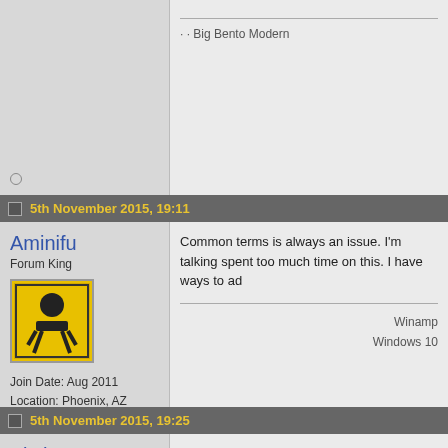· · Big Bento Modern
5th November 2015, 19:11
Aminifu
Forum King
Join Date: Aug 2011
Location: Phoenix, AZ
Posts: 4,846
Common terms is always an issue. I'm talking spent too much time on this. I have ways to ad
Winamp
Windows 10
5th November 2015, 19:25
Victhor
Late skinner & Moderator
Indeed. Anyway, the next Unity/ECNMY releas skins (using the script Pieter patched/fixed bu
· · Big Bento Modern